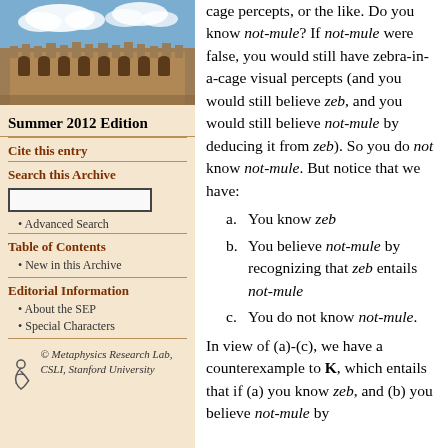[Figure (photo): Aerial photo of historic university buildings (stone gothic architecture) with blue sky and clouds]
Summer 2012 Edition
Cite this entry
Search this Archive
Advanced Search
Table of Contents
New in this Archive
Editorial Information
About the SEP
Special Characters
© Metaphysics Research Lab, CSLI, Stanford University
cage percepts, or the like. Do you know not-mule? If not-mule were false, you would still have zebra-in-a-cage visual percepts (and you would still believe zeb, and you would still believe not-mule by deducing it from zeb). So you do not know not-mule. But notice that we have:
a. You know zeb
b. You believe not-mule by recognizing that zeb entails not-mule
c. You do not know not-mule.
In view of (a)-(c), we have a counterexample to K, which entails that if (a) you know zeb, and (b) you believe not-mule by